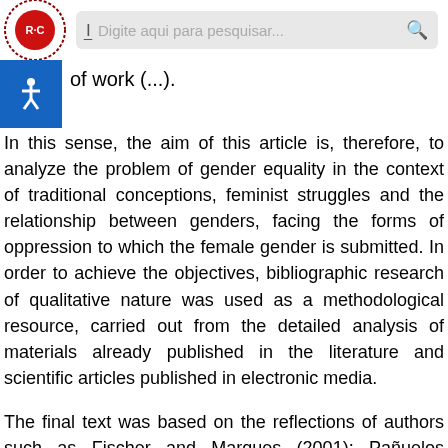Digite aqui para pesquisar...
of work (...).
In this sense, the aim of this article is, therefore, to analyze the problem of gender equality in the context of traditional conceptions, feminist struggles and the relationship between genders, facing the forms of oppression to which the female gender is submitted. In order to achieve the objectives, bibliographic research of qualitative nature was used as a methodological resource, carried out from the detailed analysis of materials already published in the literature and scientific articles published in electronic media.
The final text was based on the reflections of authors such as Fischer and Marques (2001); Pañuelos (2007); MMTR/RS (1995); Gebara (2001): Antunes (1999); Oliveira (2001), among others, which address the relationship between genders within the historical and sociocultural context and the forms of